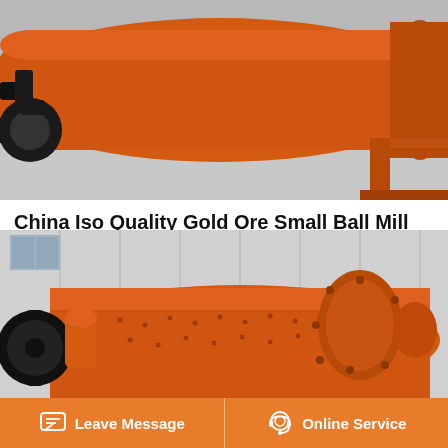[Figure (photo): Industrial orange ball mill equipment photographed outdoors, showing cylindrical drum and mechanical supports]
China Iso Quality Gold Ore Small Ball Mill Ball Mill
ISO Quality Gold Ore Small Ball Mill Ball Mill Grinder. Get Latest Price. Min. Order Reference FOB Price. 1 Piece. US $7,000-150,000 Piece. Port Qingdao, China. Production Capacity 2 Month.
[Figure (photo): Close-up of orange ball mill drum with flanged end cap, photographed in front of industrial building]
[Figure (other): Scroll-to-top button with orange rounded rectangle background and upward chevron arrow icon]
Leave Message   Online Service